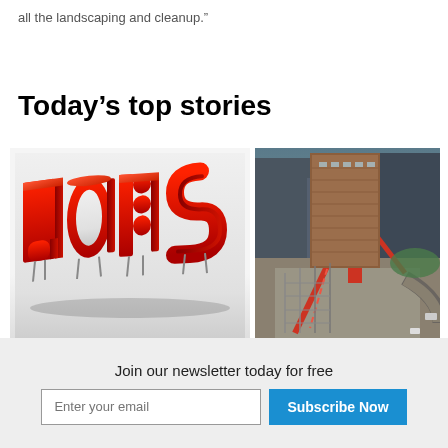all the landscaping and cleanup.”
Today’s top stories
[Figure (illustration): 3D red bold text spelling JOBS standing on metal legs on a light gray surface]
[Figure (photo): Aerial view of a construction site with a red crane next to a tall brick building in an urban area]
Join our newsletter today for free
Enter your email
Subscribe Now